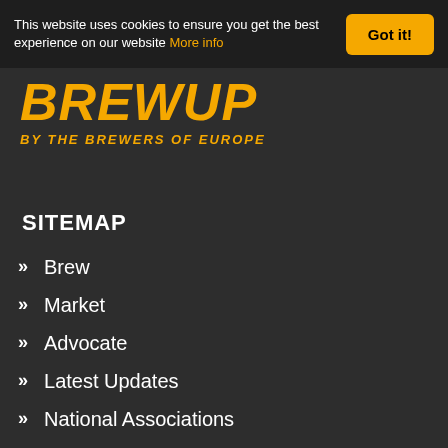This website uses cookies to ensure you get the best experience on our website More info
Got it!
BrewUp
BY THE BREWERS OF EUROPE
SITEMAP
Brew
Market
Advocate
Latest Updates
National Associations
FAQ
Contacts